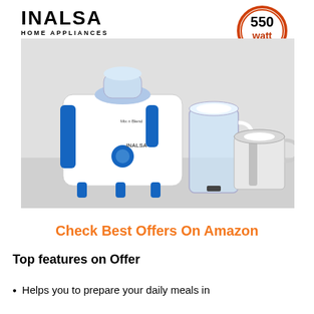[Figure (logo): INALSA HOME APPLIANCES logo in bold black text]
[Figure (infographic): 550 watt badge - circular orange/red badge with '550 watt' text]
[Figure (infographic): 2 Years Warranty badge - red seal shape with '2 Years WARRANTY' text]
[Figure (photo): Inalsa Mix n Blend juicer mixer grinder with white and blue body, blender jar, and stainless steel grinding jar on grey surface]
Check Best Offers On Amazon
Top features on Offer
Helps you to prepare your daily meals in